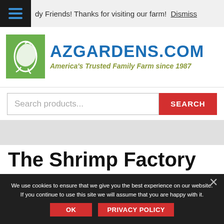dy Friends! Thanks for visiting our farm! Dismiss
[Figure (logo): AZGardens.com logo with green icon of jumping rabbit/fish and text 'AZGARDENS.COM America's Trusted Family Farm since 1987']
Search products...
The Shrimp Factory
We use cookies to ensure that we give you the best experience on our website. If you continue to use this site we will assume that you are happy with it.